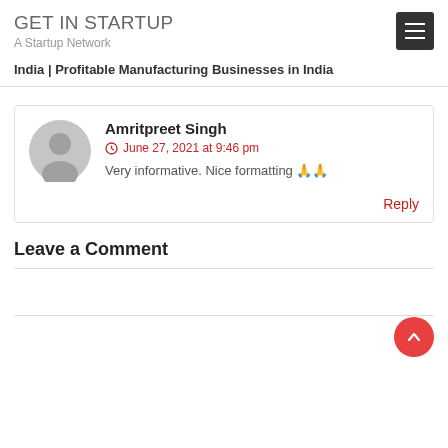GET IN STARTUP
A Startup Network
India | Profitable Manufacturing Businesses in India
Amritpreet Singh
June 27, 2021 at 9:46 pm
Very informative. Nice formatting 🙏🙏
Leave a Comment